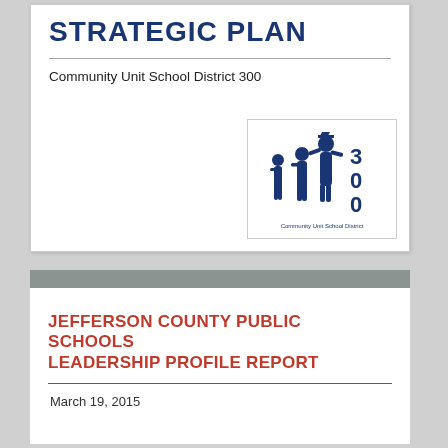STRATEGIC PLAN
Community Unit School District 300
[Figure (logo): Community Unit School District 300 logo showing silhouettes of students and the number 300]
JEFFERSON COUNTY PUBLIC SCHOOLS LEADERSHIP PROFILE REPORT
March 19, 2015